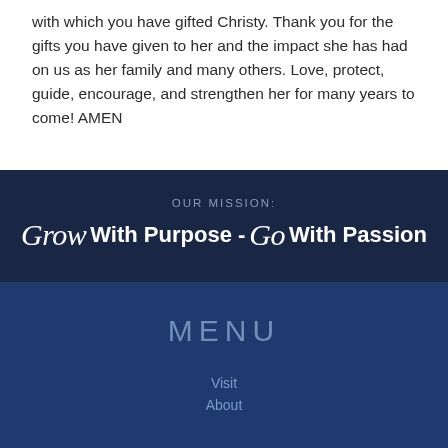with which you have gifted Christy.  Thank you for the gifts you have given to her and the impact she has had on us as her family and many others.  Love, protect, guide, encourage, and strengthen her for many years to come! AMEN
OUR MISSION: Grow With Purpose - Go With Passion
MENU
Visit
About